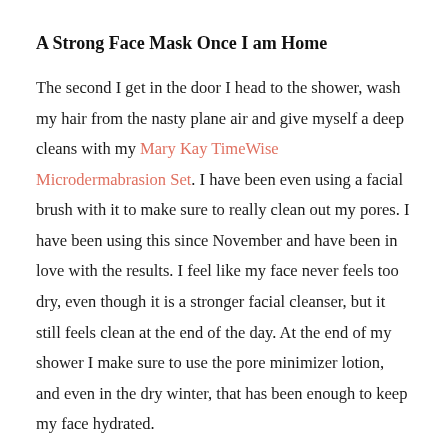A Strong Face Mask Once I am Home
The second I get in the door I head to the shower, wash my hair from the nasty plane air and give myself a deep cleans with my Mary Kay TimeWise Microdermabrasion Set. I have been even using a facial brush with it to make sure to really clean out my pores. I have been using this since November and have been in love with the results. I feel like my face never feels too dry, even though it is a stronger facial cleanser, but it still feels clean at the end of the day. At the end of my shower I make sure to use the pore minimizer lotion, and even in the dry winter, that has been enough to keep my face hydrated.